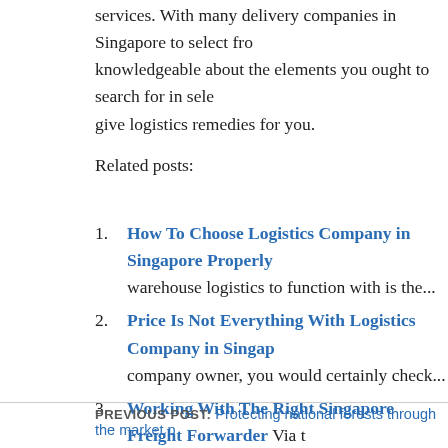services. With many delivery companies in Singapore to select from, knowledgeable about the elements you ought to search for in selecting give logistics remedies for you.
Related posts:
How To Choose Logistics Company in Singapore Properly warehouse logistics to function with is the...
Price Is Not Everything With Logistics Company in Singapore company owner, you would certainly check...
Working With The Right Singapore Freight Forwarder Via t with trustworthy logistics service providers, Singapore...
Your Choice Of Logistics Company in Singapore Has Sign Business Your selection of warehousing will certainly have a h
Provide Us a Chance to Impress You with Our Internationa Solutions One of the global parcel express services can aid to
PREVIOUS POST: Protecting national forests through the market p